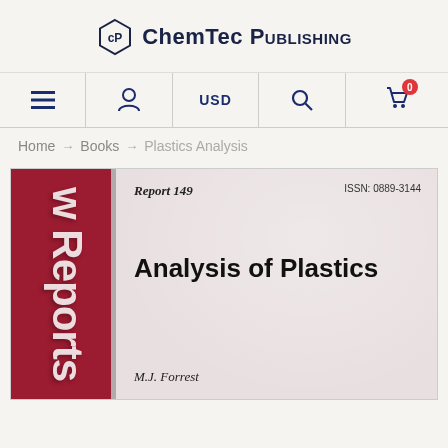[Figure (logo): ChemTec Publishing logo with hexagonal cP icon and bold text]
[Figure (screenshot): Navigation bar with hamburger menu, user icon, USD selector, search icon, and cart icon with badge 0]
Home → Books → Plastics Analysis
[Figure (photo): Book cover for 'Analysis of Plastics' Report 149, ISSN: 0889-3144, by M.J. Forrest. Red spine with 'w Reports' text visible, light textured cover background.]